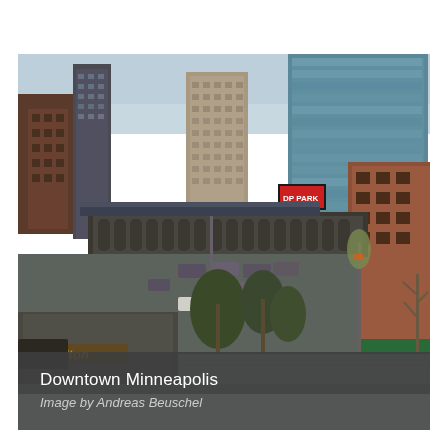[Figure (photo): Aerial/elevated view of Downtown Minneapolis skyline showing skyscrapers including a glass-curtain tower, brick buildings, parking lots with cars, street lights, trees in early spring foliage, and a Hilton hotel sign in the foreground lower left. Brick building visible on the right side. A green-lit signage (DP Park) visible in the mid-distance.]
Downtown Minneapolis
Image by Andreas Beuschel